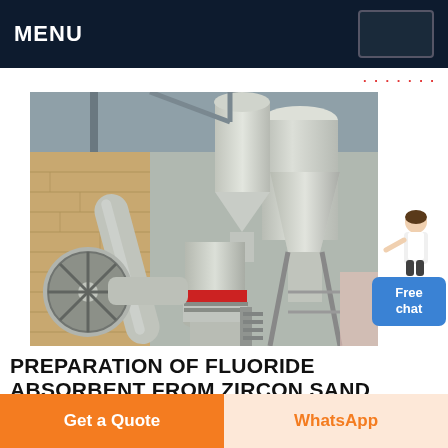MENU
[Figure (photo): Industrial grinding/milling machine equipment in a factory setting. Large white cylindrical hoppers, funnels, pipes and processing machinery visible.]
PREPARATION OF FLUORIDE ABSORBENT FROM ZIRCON SAND USING
Get a Quote
WhatsApp